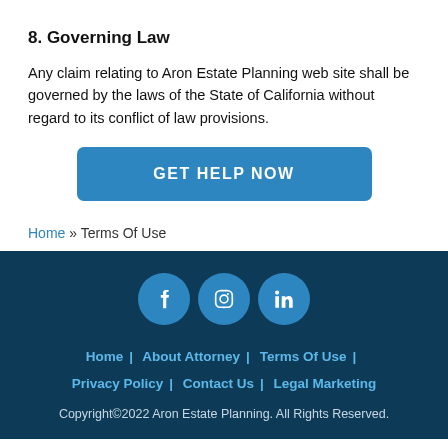8. Governing Law
Any claim relating to Aron Estate Planning web site shall be governed by the laws of the State of California without regard to its conflict of law provisions.
[Figure (other): Blue call-to-action button reading GET HELP NOW]
Home » Terms Of Use
Home | About Attorney | Terms Of Use | Privacy Policy | Contact Us | Legal Marketing
Copyright©2022 Aron Estate Planning. All Rights Reserved.